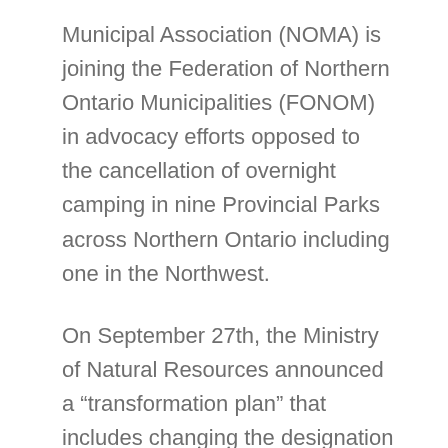Municipal Association (NOMA) is joining the Federation of Northern Ontario Municipalities (FONOM) in advocacy efforts opposed to the cancellation of overnight camping in nine Provincial Parks across Northern Ontario including one in the Northwest.
On September 27th, the Ministry of Natural Resources announced a “transformation plan” that includes changing the designation of 10 Ontario Parks of which 8 are in the Northeast and 1 in the Northwest (Caliper Lake northwest of Fort Frances). These parks will no longer permit overnight camping and will only allow day usage. This change will have a negative impact on local